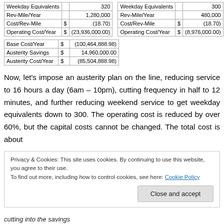|  |  |  |
| --- | --- | --- |
| Weekday Equivalents |  | 320 |
| Rev-Mile/Year |  | 1,280,000 |
| Cost/Rev-Mile | $ | (18.70) |
| Operating Cost/Year | $ | (23,936,000.00) |
|  |  |  |
| --- | --- | --- |
| Weekday Equivalents |  | 300 |
| Rev-Mile/Year |  | 480,000 |
| Cost/Rev-Mile | $ | (18.70) |
| Operating Cost/Year | $ | (8,976,000.00) |
|  |  |  |
| --- | --- | --- |
| Base Cost/Year | $ | (100,464,888.98) |
| Austerity Savings | $ | 14,960,000.00 |
| Austerity Cost/Year | $ | (85,504,888.98) |
Now, let's impose an austerity plan on the line, reducing service to 16 hours a day (6am – 10pm), cutting frequency in half to 12 minutes, and further reducing weekend service to get weekday equivalents down to 300. The operating cost is reduced by over 60%, but the capital costs cannot be changed. The total cost is about
Privacy & Cookies: This site uses cookies. By continuing to use this website, you agree to their use. To find out more, including how to control cookies, see here: Cookie Policy
cutting into the savings